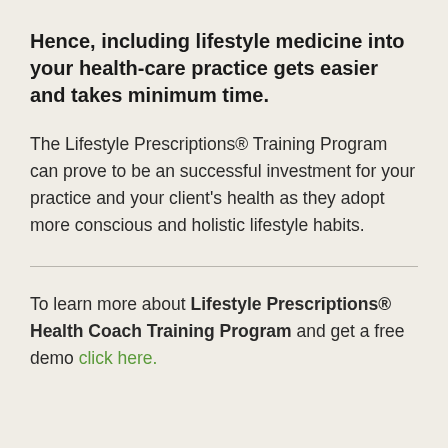Hence, including lifestyle medicine into your health-care practice gets easier and takes minimum time.
The Lifestyle Prescriptions® Training Program can prove to be an successful investment for your practice and your client's health as they adopt more conscious and holistic lifestyle habits.
To learn more about Lifestyle Prescriptions® Health Coach Training Program and get a free demo click here.